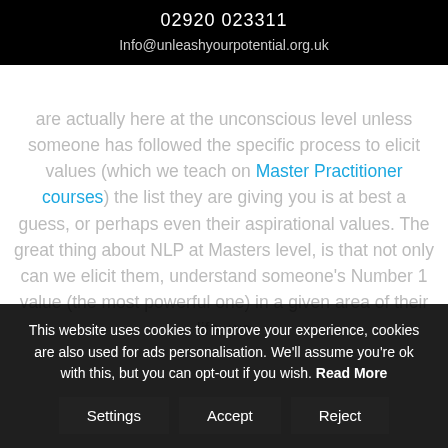02920 023311
Info@unleashyourpotential.org.uk
are actually here at the unconscious level unless someone has followed the specific process to elicit values (which we teach on Master Practitioner courses) the list they are giving you is at best a guess, or perhaps even their aspirational values. The great thing about NLP at Masters level, is that not only can we elicit them, understand someone's Number 1 value (the most powerful one) in a given area of their life, we
This website uses cookies to improve your experience, cookies are also used for ads personalisation. We'll assume you're ok with this, but you can opt-out if you wish. Read More
Settings  Accept  Reject